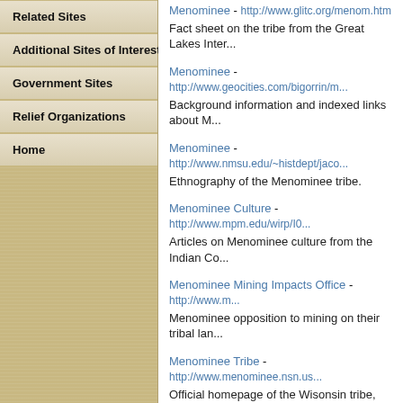Related Sites
Additional Sites of Interest
Government Sites
Relief Organizations
Home
Menominee - http://www.glitc.org/menom.htm
Fact sheet on the tribe from the Great Lakes Inter...
Menominee - http://www.geocities.com/bigorrin/m...
Background information and indexed links about M...
Menominee - http://www.nmsu.edu/~histdept/jaco...
Ethnography of the Menominee tribe.
Menominee Culture - http://www.mpm.edu/wirp/I0...
Articles on Menominee culture from the Indian Co...
Menominee Mining Impacts Office - http://www.m...
Menominee opposition to mining on their tribal lan...
Menominee Tribe - http://www.menominee.nsn.us...
Official homepage of the Wisonsin tribe, with infor...
Who were the Menominee Indians? - http://riri.es...
The history, culture, societal make-up, hunting an...